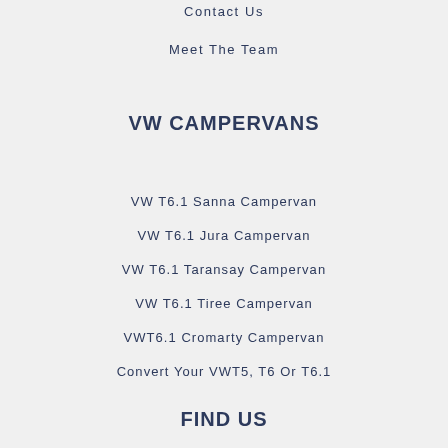Contact Us
Meet The Team
VW CAMPERVANS
VW T6.1 Sanna Campervan
VW T6.1 Jura Campervan
VW T6.1 Taransay Campervan
VW T6.1 Tiree Campervan
VWT6.1 Cromarty Campervan
Convert Your VWT5, T6 Or T6.1
FIND US